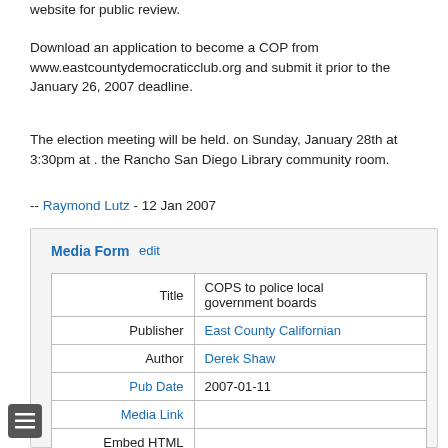website for public review.
Download an application to become a COP from www.eastcountydemocraticclub.org and submit it prior to the January 26, 2007 deadline.
The election meeting will be held. on Sunday, January 28th at 3:30pm at . the Rancho San Diego Library community room.
-- Raymond Lutz - 12 Jan 2007
| Field | Value |
| --- | --- |
| Title | COPS to police local government boards |
| Publisher | East County Californian |
| Author | Derek Shaw |
| Pub Date | 2007-01-11 |
| Media Link |  |
| Embed HTML |  |